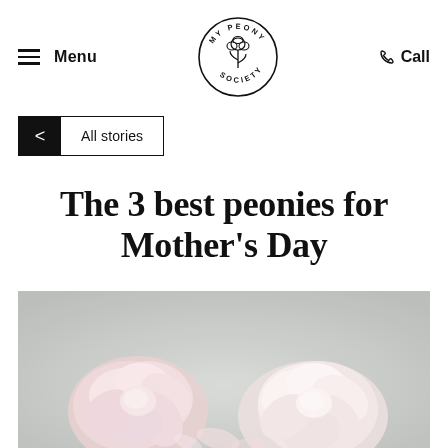Menu | MY PEONY SOCIETY | Call
< All stories
The 3 best peonies for Mother's Day
[Figure (photo): Photo of pink and white peony flowers on a light grey background]